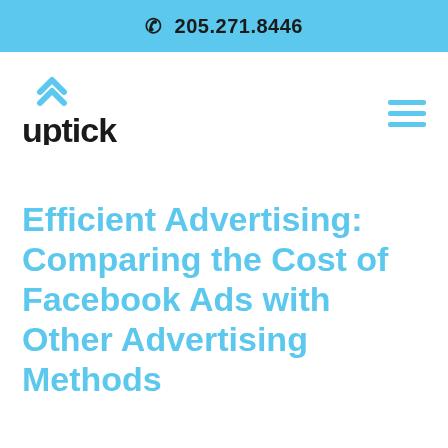📞 205.271.8446
[Figure (logo): Uptick logo with blue chevron/arrow icon above the word 'uptick' in bold dark text]
Efficient Advertising: Comparing the Cost of Facebook Ads with Other Advertising Methods